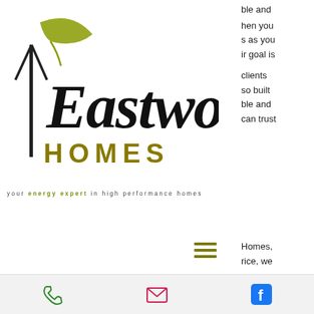[Figure (logo): Eastwood Homes logo with house silhouette and cursive script text 'Eastwood' above 'HOMES' in gold serif capitals]
your energy expert in high performance homes
ble and
hen you
s as you
ir goal is

clients
so built
ble and
can trust

Homes,
rice, we
[Figure (other): Hamburger menu icon with three horizontal olive/dark-yellow bars]
Here's a glimpse at what it's like to build with us.
The Plan
Every Eastwood Home begins with a vision. Sometimes it is little more than a picture torn from a magazine, while other times it is a collection of ideas from a lifetime. Either way, those ideas must be developed into a set of house plans.
We can help you achieve the first and most essential step in making your custom built home a reality when you work with our award-limiting t
[Figure (other): Bottom navigation bar with phone icon (green), email icon (pink/red envelope), and Facebook icon (blue)]